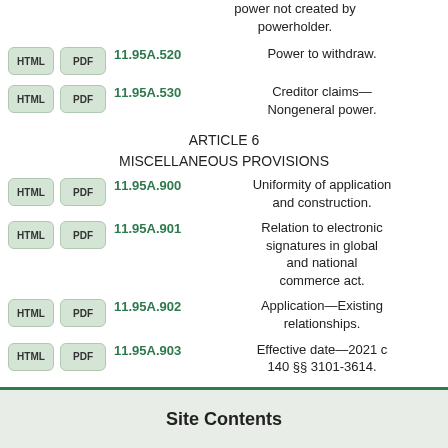power not created by powerholder.
11.95A.520 Power to withdraw.
11.95A.530 Creditor claims—Nongeneral power.
ARTICLE 6
MISCELLANEOUS PROVISIONS
11.95A.900 Uniformity of application and construction.
11.95A.901 Relation to electronic signatures in global and national commerce act.
11.95A.902 Application—Existing relationships.
11.95A.903 Effective date—2021 c 140 §§ 3101-3614.
Site Contents